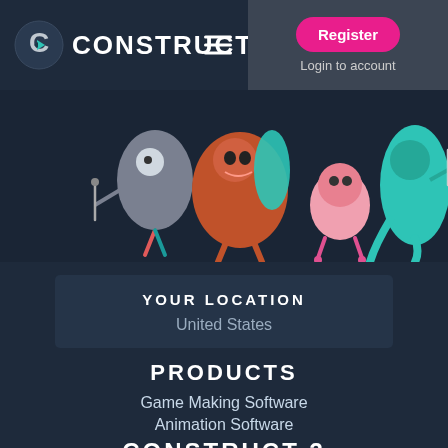CONSTRUCT — Register — Login to account
[Figure (illustration): Colorful cartoon game characters including monsters and creatures on a dark blue background]
YOUR LOCATION
United States
PRODUCTS
Game Making Software
Animation Software
CONSTRUCT 3